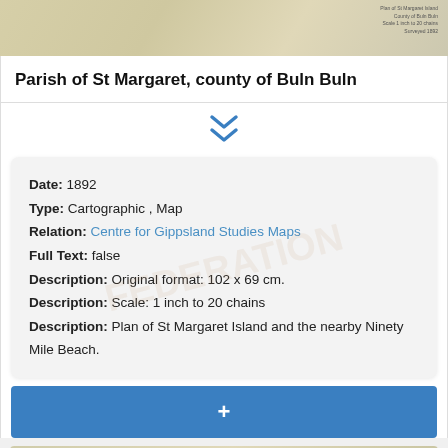[Figure (map): Top portion of a cartographic map showing a coastal/island area, with small text labels in the upper right corner.]
Parish of St Margaret, county of Buln Buln
[Figure (other): Blue double chevron down arrow icon indicating expandable/collapsible section.]
Date: 1892
Type: Cartographic , Map
Relation: Centre for Gippsland Studies Maps
Full Text: false
Description: Original format: 102 x 69 cm.
Description: Scale: 1 inch to 20 chains
Description: Plan of St Margaret Island and the nearby Ninety Mile Beach.
[Figure (other): Blue button bar with a plus (+) symbol for adding content.]
[Figure (map): Bottom portion of a cartographic map preview, partially visible.]